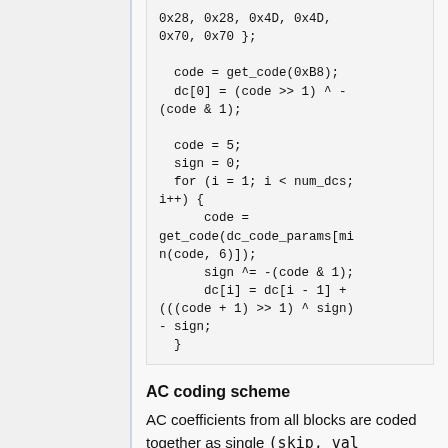[Figure (screenshot): Code snippet showing DC coding with get_code, sign, and for-loop logic]
AC coding scheme
AC coefficients from all blocks are coded together as single (skip, val